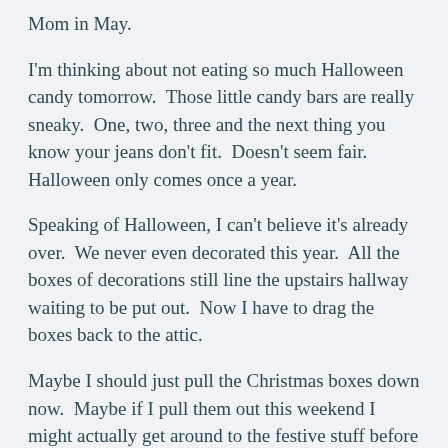Mom in May.
I'm thinking about not eating so much Halloween candy tomorrow.  Those little candy bars are really sneaky.  One, two, three and the next thing you know your jeans don't fit.  Doesn't seem fair.  Halloween only comes once a year.
Speaking of Halloween, I can't believe it's already over.  We never even decorated this year.  All the boxes of decorations still line the upstairs hallway waiting to be put out.  Now I have to drag the boxes back to the attic.
Maybe I should just pull the Christmas boxes down now.  Maybe if I pull them out this weekend I might actually get around to the festive stuff before it's January '08.
Maybe.  But with a book due by December 15th, not